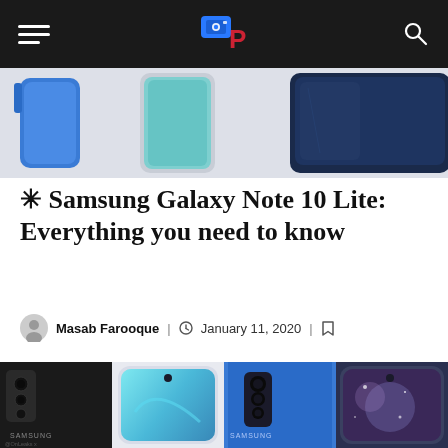Navigation bar with hamburger menu, Pocketnow logo, and search icon
[Figure (photo): Top strip showing Samsung Galaxy Note 10 Lite phones in blue and dark navy color renders on a light background]
✳ Samsung Galaxy Note 10 Lite: Everything you need to know
Masab Farooque | January 11, 2020 | [bookmark icon]
[Figure (photo): Samsung Galaxy Note 10 Lite product renders showing four phones: back view in black, front view in white/silver, back view in blue, and front view showing galaxy/universe wallpaper. Attribution: @OnLeaks x [site]]